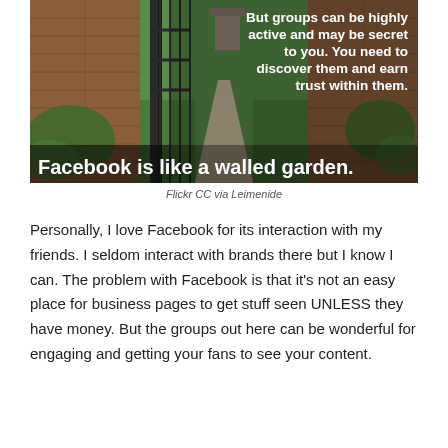[Figure (photo): Photo of a walled garden with iron gate opening to a green path and tower. Overlaid white bold text: 'But groups can be highly active and may be secret to you. You need to discover them and earn trust within them.' and large text at bottom: 'Facebook is like a walled garden.']
Flickr CC via Leimenide
Personally, I love Facebook for its interaction with my friends. I seldom interact with brands there but I know I can. The problem with Facebook is that it's not an easy place for business pages to get stuff seen UNLESS they have money. But the groups out here can be wonderful for engaging and getting your fans to see your content.